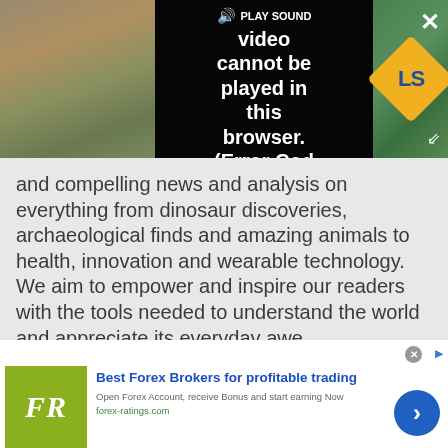[Figure (screenshot): Video player overlay showing 'PLAY SOUND' button and error message 'Video cannot be played in this browser. (Error Cod' on dark background, with rock/nature thumbnail on left and LS logo on right. Close (X) and expand buttons visible.]
and compelling news and analysis on everything from dinosaur discoveries, archaeological finds and amazing animals to health, innovation and wearable technology. We aim to empower and inspire our readers with the tools needed to understand the world and appreciate its everyday awe.
[Figure (screenshot): Advertisement banner: FR logo (green square with white serif FR text), headline 'Best Forex Brokers for profitable trading', body 'Open Forex Account, receive Bonus and start earning Now', URL 'forex-ratings.com', blue circle arrow button on right.]